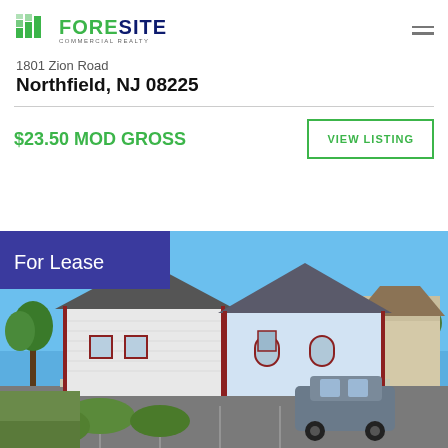[Figure (logo): Foresite Commercial Realty logo with green building icon and dark blue text]
1801 Zion Road
Northfield, NJ 08225
$23.50 MOD GROSS
VIEW LISTING
[Figure (photo): Commercial office building for lease at 1801 Zion Road, Northfield NJ. White siding buildings with grey roofs and red trim, parking lot visible, SUV parked in lot, trees in background, blue sky.]